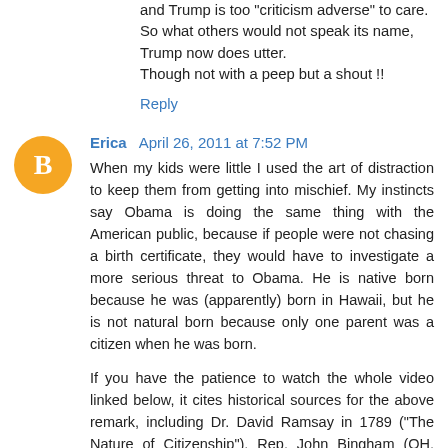and Trump is too "criticism adverse" to care.
So what others would not speak its name, Trump now does utter.
Though not with a peep but a shout !!
Reply
Erica  April 26, 2011 at 7:52 PM
When my kids were little I used the art of distraction to keep them from getting into mischief. My instincts say Obama is doing the same thing with the American public, because if people were not chasing a birth certificate, they would have to investigate a more serious threat to Obama. He is native born because he was (apparently) born in Hawaii, but he is not natural born because only one parent was a citizen when he was born.
If you have the patience to watch the whole video linked below, it cites historical sources for the above remark, including Dr. David Ramsay in 1789 ("The Nature of Citizenship"), Rep. John Bingham (OH, 1862), father of the 14th Amendment, and Supreme Court Justice, Hugo Black...